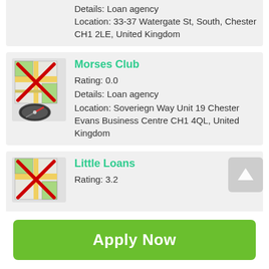Details: Loan agency
Location: 33-37 Watergate St, South, Chester CH1 2LE, United Kingdom
[Figure (illustration): Map icon with red X cross over it and a compass/gauge icon below]
Morses Club
Rating: 0.0
Details: Loan agency
Location: Soveriegn Way Unit 19 Chester Evans Business Centre CH1 4QL, United Kingdom
[Figure (illustration): Map icon with red X cross over it and a compass/gauge icon below]
Little Loans
Rating: 3.2
Apply Now
Applying does NOT affect your credit score!
No credit check to apply.